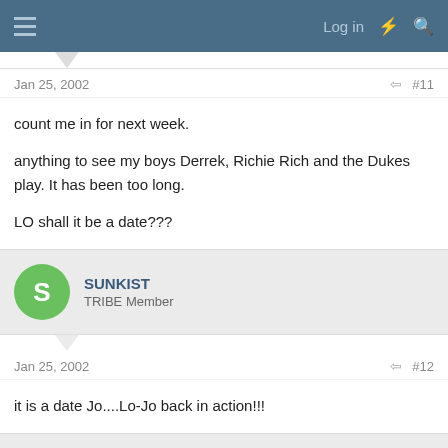Log in
Jan 25, 2002 #11
count me in for next week.

anything to see my boys Derrek, Richie Rich and the Dukes play. It has been too long.

LO shall it be a date???
SUNKIST
TRIBE Member
Jan 25, 2002 #12
it is a date Jo....Lo-Jo back in action!!!
mutslaster
TRIBE Member